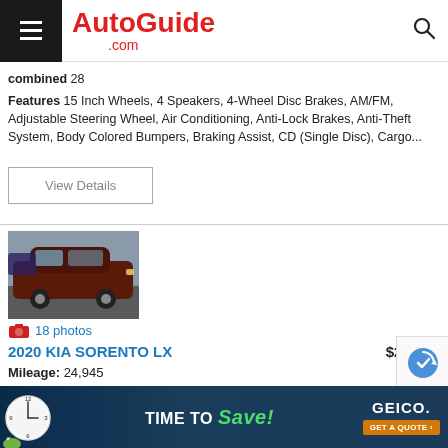AutoGuide.com
combined 28
Features 15 Inch Wheels, 4 Speakers, 4-Wheel Disc Brakes, AM/FM, Adjustable Steering Wheel, Air Conditioning, Anti-Lock Brakes, Anti-Theft System, Body Colored Bumpers, Braking Assist, CD (Single Disc), Cargo...
View Details
[Figure (photo): Dark maroon/brown 2020 Kia Sorento LX SUV in a parking lot]
18 photos
2020 KIA SORENTO LX   $27,995
Mileage: 24,945
Location: Chicago
MPG: city 22
[Figure (photo): GEICO advertisement banner - TIME TO Save! GET A QUOTE]